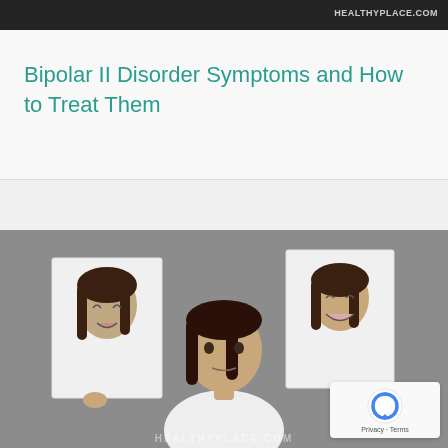HEALTHYPLACE.COM
Bipolar II Disorder Symptoms and How to Treat Them
[Figure (photo): A woman holding up two photographs of herself showing different emotional expressions — crying/distressed on the left, and smiling/happy on the right — while she herself displays a neutral expression in the center. The image illustrates mood swings associated with bipolar disorder. Watermark reads HEALTHYPLACE.COM at the bottom.]